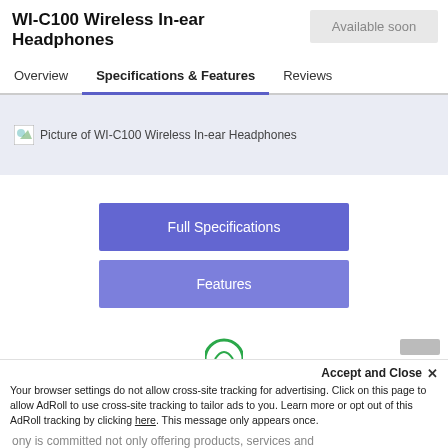WI-C100 Wireless In-ear Headphones
Available soon
Overview | Specifications & Features | Reviews
[Figure (other): Broken image placeholder with label: Picture of WI-C100 Wireless In-ear Headphones]
Full Specifications
Features
Accept and Close ×
Your browser settings do not allow cross-site tracking for advertising. Click on this page to allow AdRoll to use cross-site tracking to tailor ads to you. Learn more or opt out of this AdRoll tracking by clicking here. This message only appears once.